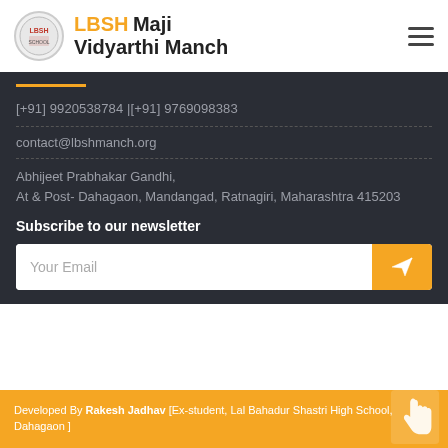LBSH Maji Vidyarthi Manch
[+91] 9920538784 |[+91] 9769098383
contact@lbshmanch.org
Abhijeet Prabhakar Gandhi,
At & Post- Dahagaon, Mandangad, Ratnagiri, Maharashtra 415203
Subscribe to our newsletter
Your Email
Developed By Rakesh Jadhav [Ex-student, Lal Bahadur Shastri High School, Dahagaon ]